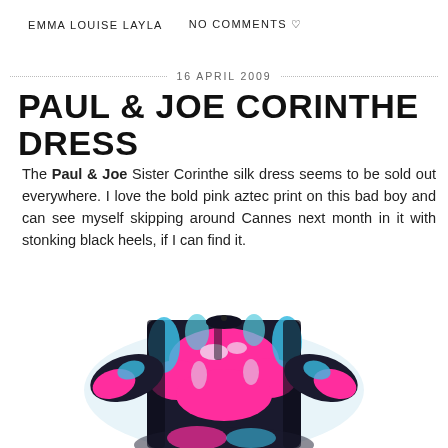EMMA LOUISE LAYLA   NO COMMENTS ♡
16 APRIL 2009
PAUL & JOE CORINTHE DRESS
The Paul & Joe Sister Corinthe silk dress seems to be sold out everywhere. I love the bold pink aztec print on this bad boy and can see myself skipping around Cannes next month in it with stonking black heels, if I can find it.
[Figure (photo): Paul & Joe Sister Corinthe silk dress with bold pink, teal, black and white aztec print pattern, shown draped/hanging.]